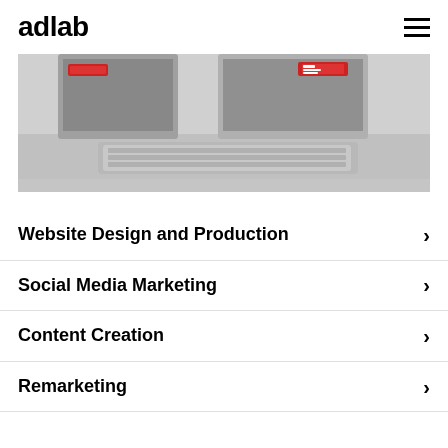adlab
[Figure (photo): A desktop computer setup showing monitors with content, keyboard on a desk — grayscale/muted photograph cropped at the top.]
Website Design and Production
Social Media Marketing
Content Creation
Remarketing